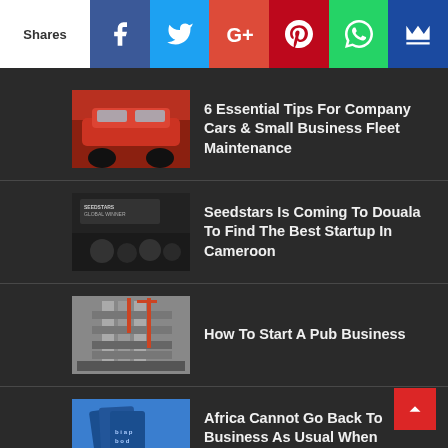Shares | Facebook | Twitter | Google+ | Pinterest | WhatsApp | Crown
6 Essential Tips For Company Cars & Small Business Fleet Maintenance
Seedstars Is Coming To Douala To Find The Best Startup In Cameroon
How To Start A Pub Business
Africa Cannot Go Back To Business As Usual When COVID-19 Pandemic Is Over